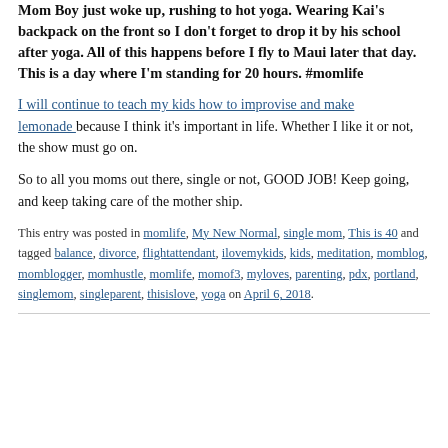Mom Boy just woke up, rushing to hot yoga. Wearing Kai's backpack on the front so I don't forget to drop it by his school after yoga. All of this happens before I fly to Maui later that day. This is a day where I'm standing for 20 hours. #momlife
I will continue to teach my kids how to improvise and make lemonade because I think it's important in life. Whether I like it or not, the show must go on.
So to all you moms out there, single or not, GOOD JOB! Keep going, and keep taking care of the mother ship.
This entry was posted in momlife, My New Normal, single mom, This is 40 and tagged balance, divorce, flightattendant, ilovemykids, kids, meditation, momblog, momblogger, momhustle, momlife, momof3, myloves, parenting, pdx, portland, singlemom, singleparent, thisislove, yoga on April 6, 2018.